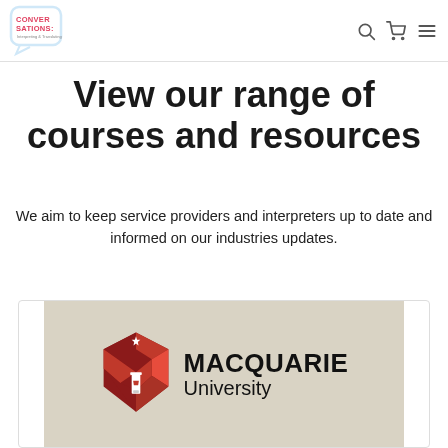Conversations: Interpreting & Translating — navigation bar with logo, search, cart, and menu icons
View our range of courses and resources
We aim to keep service providers and interpreters up to date and informed on our industries updates.
[Figure (logo): Macquarie University logo: red geometric shield with lighthouse and star, alongside 'MACQUARIE University' text, on a beige/tan background card]